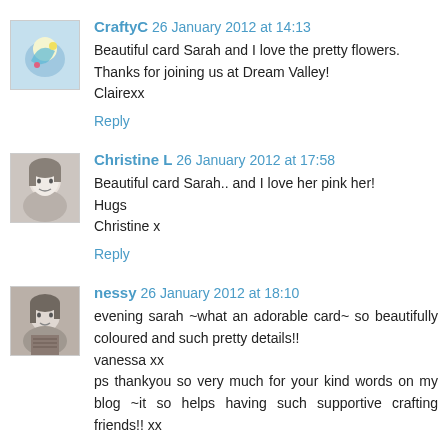CraftyC 26 January 2012 at 14:13
Beautiful card Sarah and I love the pretty flowers. Thanks for joining us at Dream Valley!
Clairexx
Reply
Christine L 26 January 2012 at 17:58
Beautiful card Sarah.. and I love her pink her!
Hugs
Christine x
Reply
nessy 26 January 2012 at 18:10
evening sarah ~what an adorable card~ so beautifully coloured and such pretty details!!
vanessa xx
ps thankyou so very much for your kind words on my blog ~it so helps having such supportive crafting friends!! xx